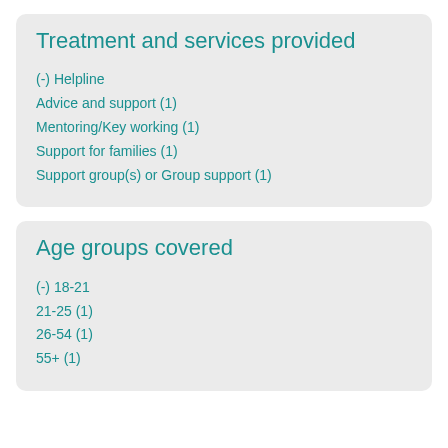Treatment and services provided
(-) Helpline
Advice and support (1)
Mentoring/Key working (1)
Support for families (1)
Support group(s) or Group support (1)
Age groups covered
(-) 18-21
21-25 (1)
26-54 (1)
55+ (1)